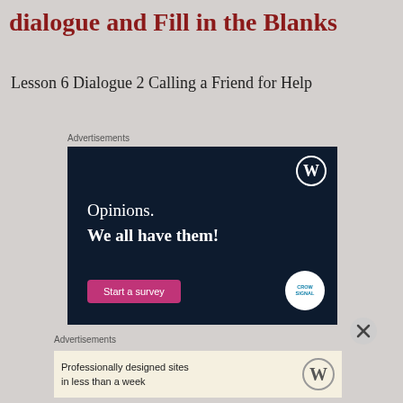dialogue and Fill in the Blanks
Lesson 6 Dialogue 2 Calling a Friend for Help
Advertisements
[Figure (illustration): Dark navy advertisement banner with WordPress logo, text 'Opinions. We all have them!', a pink 'Start a survey' button, and a Crowdsignal logo circle in the bottom right.]
Advertisements
[Figure (illustration): Beige advertisement banner with text 'Professionally designed sites in less than a week' and a WordPress logo on the right.]